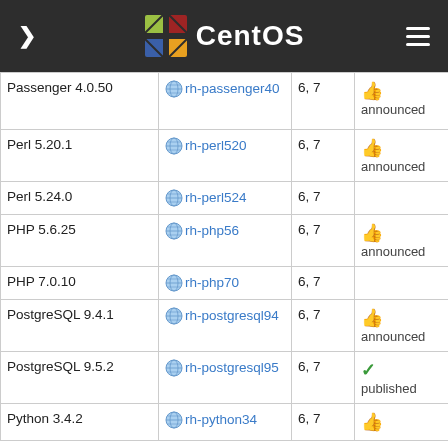CentOS
| Package | SCL name | Version | Status | Requires |
| --- | --- | --- | --- | --- |
| Passenger 4.0.50 | rh-passenger40 | 6, 7 | 👍 announced | ruby193 ror40 ruby200 ror41 rh-ruby22 |
| Perl 5.20.1 | rh-perl520 | 6, 7 | 👍 announced |  |
| Perl 5.24.0 | rh-perl524 | 6, 7 |  |  |
| PHP 5.6.25 | rh-php56 | 6, 7 | 👍 announced | httpd24 |
| PHP 7.0.10 | rh-php70 | 6, 7 |  |  |
| PostgreSQL 9.4.1 | rh-postgresql94 | 6, 7 | 👍 announced |  |
| PostgreSQL 9.5.2 | rh-postgresql95 | 6, 7 | ✓ published |  |
| Python 3.4.2 | rh-python34 | 6, 7 | 👍 |  |